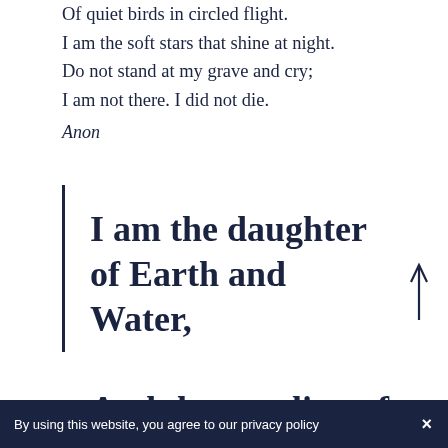Of quiet birds in circled flight.
I am the soft stars that shine at night.
Do not stand at my grave and cry;
I am not there. I did not die.
Anon
I am the daughter of Earth and Water,
And the nursling of the Sky;
By using this website, you agree to our privacy policy  ×